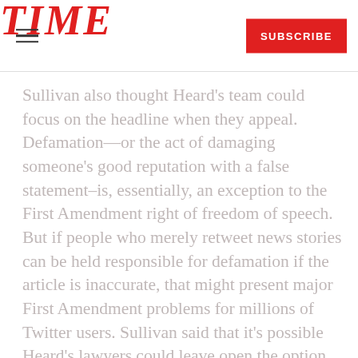TIME  SUBSCRIBE
Sullivan also thought Heard’s team could focus on the headline when they appeal. Defamation—or the act of damaging someone’s good reputation with a false statement–is, essentially, an exception to the First Amendment right of freedom of speech. But if people who merely retweet news stories can be held responsible for defamation if the article is inaccurate, that might present major First Amendment problems for millions of Twitter users. Sullivan said that it’s possible Heard’s lawyers could leave open the option to take the case to the Supreme Court by focusing on this First Amendment issue. “They will be sure to include a…